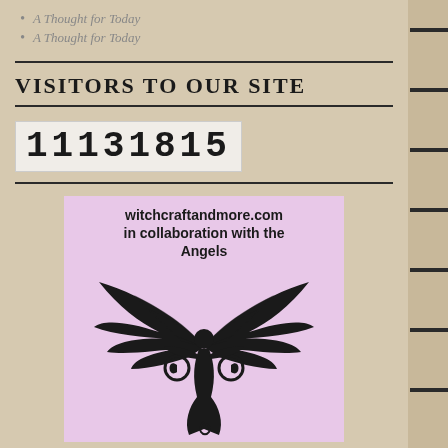A Thought for Today
A Thought for Today
VISITORS TO OUR SITE
11131815
[Figure (logo): Angel/goddess figure with large wings on lavender background, with text 'witchcraftandmore.com in collaboration with the Angels']